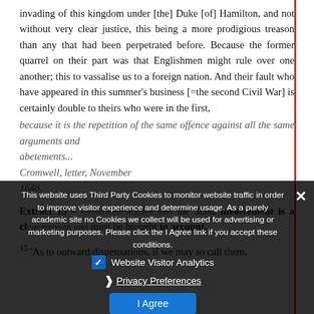invading of this kingdom under [the] Duke [of] Hamilton, and not without very clear justice, this being a more prodigious treason than any that had been perpetrated before. Because the former quarrel on their part was that Englishmen might rule over one another; this to vassalise us to a foreign nation. And their fault who have appeared in this summer's business [=the second Civil War] is certainly double to theirs who were in the first,
because it is the repetition of the same offence against all the same arguments and abetements... Cromwell, letter, November 1648.
Extract 15 – Cromwell argues that the Scots involvement is a clear treason and must be brought to account.
15 'As to outward dispensations, if we may so call them,
[Figure (screenshot): Cookie consent popup overlay with dark semi-transparent background. Contains text about Third Party Cookies, a checked blue checkbox for Website Visitor Analytics, a Privacy Preferences link with chevron, and a blue I Agree button. An X close button appears top right.]